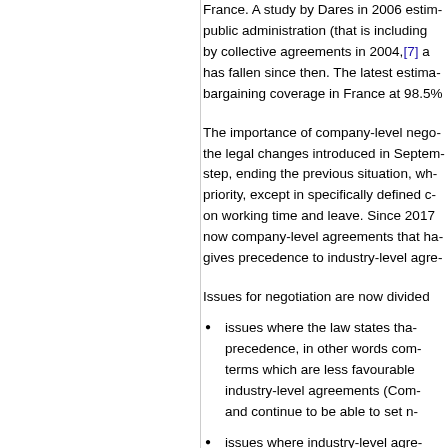France. A study by Dares in 2006 estim- public administration (that is including by collective agreements in 2004,[7] a has fallen since then. The latest estima- bargaining coverage in France at 98.5%
The importance of company-level nego- the legal changes introduced in Septem- step, ending the previous situation, wh- priority, except in specifically defined c- on working time and leave. Since 2017 now company-level agreements that ha- gives precedence to industry-level agre-
Issues for negotiation are now divided
issues where the law states tha- precedence, in other words com- terms which are less favourable industry-level agreements (Com- and continue to be able to set n-
issues where industry-level agre- because the industry-level agre- be the case and the law permits
issues where company-level ag- of what the industry-level agree-